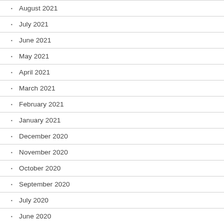August 2021
July 2021
June 2021
May 2021
April 2021
March 2021
February 2021
January 2021
December 2020
November 2020
October 2020
September 2020
July 2020
June 2020
May 2020